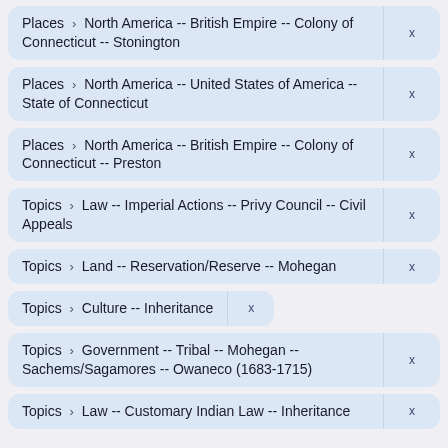Places › North America -- British Empire -- Colony of Connecticut -- Stonington
Places › North America -- United States of America -- State of Connecticut
Places › North America -- British Empire -- Colony of Connecticut -- Preston
Topics › Law -- Imperial Actions -- Privy Council -- Civil Appeals
Topics › Land -- Reservation/Reserve -- Mohegan
Topics › Culture -- Inheritance
Topics › Government -- Tribal -- Mohegan -- Sachems/Sagamores -- Owaneco (1683-1715)
Topics › Law -- Customary Indian Law -- Inheritance